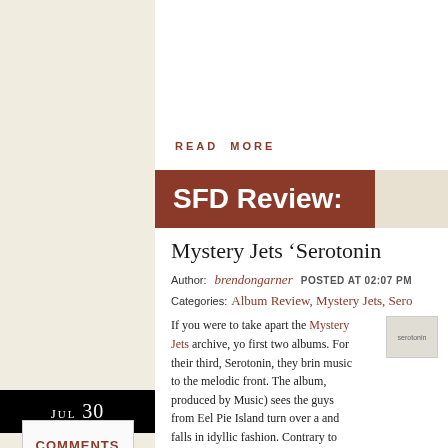READ MORE
SFD Review:
Mystery Jets 'Serotonin'
Author: brendongarner   POSTED AT 02:07 PM
Categories: Album Review, Mystery Jets, Sero...
[Figure (photo): serotonin album cover thumbnail]
If you were to take apart the Mystery Jets archive, you would find first two albums. For their third, Serotonin, they bring music to the melodic front. The album, produced by Music) sees the guys from Eel Pie Island turn over a and falls in idyllic fashion. Contrary to their critically unforgettable single 'Two Doors Down', Mystery Je...